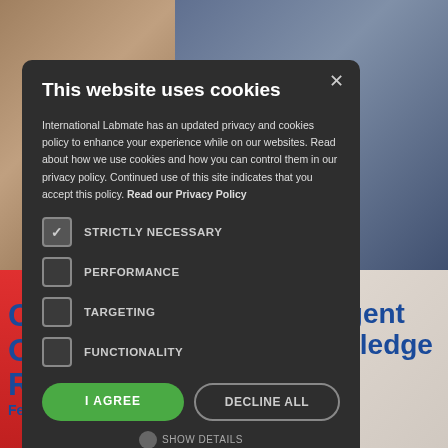[Figure (screenshot): Background collage of photos showing people in office/social settings, with blue bold text partially visible behind the cookie consent modal reading 'C... O... R...' on the left and 'igent wledge' on the right. A red bar is visible at bottom left.]
This website uses cookies
International Labmate has an updated privacy and cookies policy to enhance your experience while on our websites. Read about how we use cookies and how you can control them in our privacy policy. Continued use of this site indicates that you accept this policy. Read our Privacy Policy
STRICTLY NECESSARY
PERFORMANCE
TARGETING
FUNCTIONALITY
I AGREE
DECLINE ALL
SHOW DETAILS